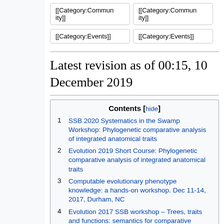[[Category:Community]]
[[Category:Community]]
[[Category:Events]]
[[Category:Events]]
Latest revision as of 00:15, 10 December 2019
1 SSB 2020 Systematics in the Swamp Workshop: Phylogenetic comparative analysis of integrated anatomical traits
2 Evolution 2019 Short Course: Phylogenetic comparative analysis of integrated anatomical traits
3 Computable evolutionary phenotype knowledge: a hands-on workshop. Dec 11-14, 2017, Durham, NC
4 Evolution 2017 SSB workshop – Trees, traits and functions: semantics for comparative biology
5 Workshop on New Tools for Studying Phenotype Evolution in the Vertebrates,